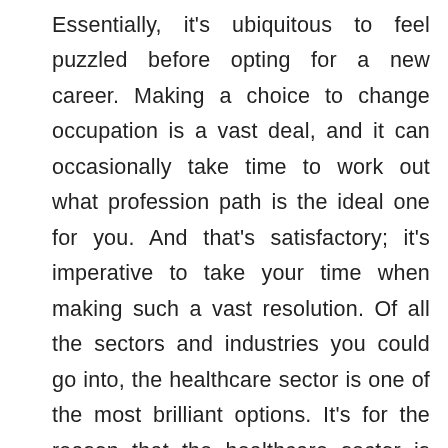Essentially, it's ubiquitous to feel puzzled before opting for a new career. Making a choice to change occupation is a vast deal, and it can occasionally take time to work out what profession path is the ideal one for you. And that's satisfactory; it's imperative to take your time when making such a vast resolution. Of all the sectors and industries you could go into, the healthcare sector is one of the most brilliant options. It's for the reason that the healthcare sector is the fastest developing and growing industry in the country and across the world. Besides, working in the healthcare sector pretty much assurance you a profession for a lifetime, as there aren't many professions that can make